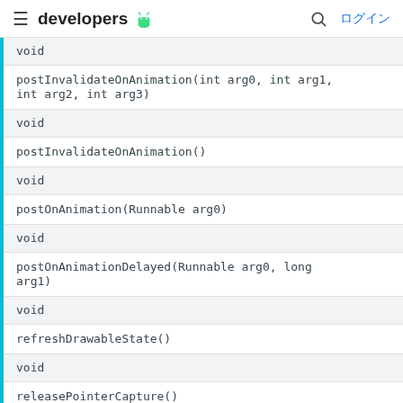≡ developers [android logo] 🔍 ログイン
| void |
| postInvalidateOnAnimation(int arg0, int arg1, int arg2, int arg3) |
| void |
| postInvalidateOnAnimation() |
| void |
| postOnAnimation(Runnable arg0) |
| void |
| postOnAnimationDelayed(Runnable arg0, long arg1) |
| void |
| refreshDrawableState() |
| void |
| releasePointerCapture() |